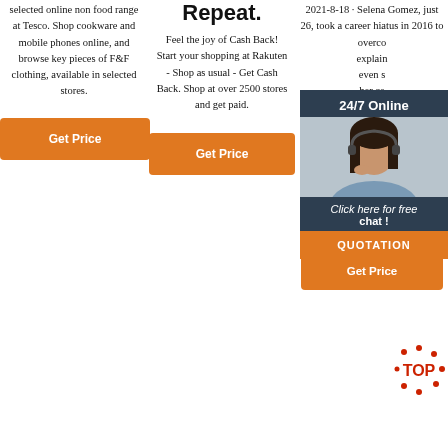selected online non food range at Tesco. Shop cookware and mobile phones online, and browse key pieces of F&F clothing, available in selected stores.
Get Price
Repeat.
Feel the joy of Cash Back! Start your shopping at Rakuten - Shop as usual - Get Cash Back. Shop at over 2500 stores and get paid.
Get Price
2021-8-18 · Selena Gomez, just 26, took a career hiatus in 2016 to overco... explain... even s... her ce... 90 day... most... ca... reju... feeling... explai... rarely p... phone, and only limited people have access to me...
[Figure (other): 24/7 Online chat overlay with agent photo, 'Click here for free chat!' text, and QUOTATION button]
Get Price